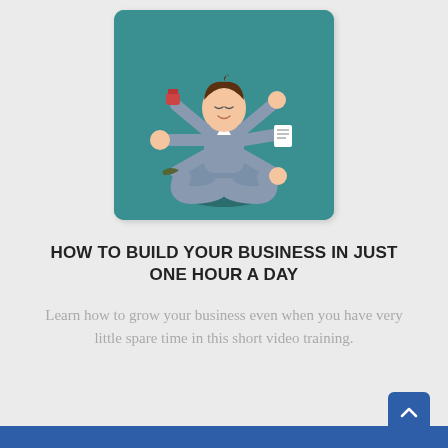[Figure (illustration): Cartoon illustration of a multi-armed person meditating in a lotus pose on a teal/green background, holding various objects in each hand, representing multitasking or business productivity.]
HOW TO BUILD YOUR BUSINESS IN JUST ONE HOUR A DAY
Learn how to grow your business even when you have very little spare time in this short video training.